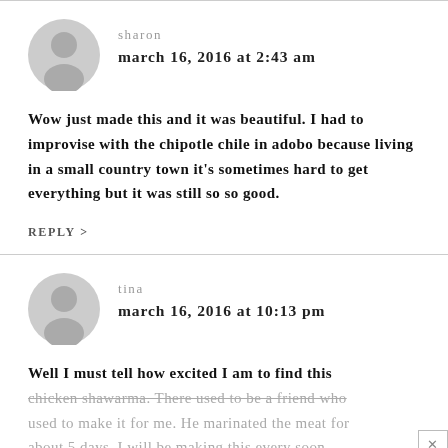[Figure (illustration): Grey avatar icon of a person silhouette for user sharon]
sharon
march 16, 2016 at 2:43 am
Wow just made this and it was beautiful. I had to improvise with the chipotle chile in adobo because living in a small country town it's sometimes hard to get everything but it was still so so good.
REPLY >
[Figure (illustration): Grey avatar icon of a person silhouette for user tina]
tina
march 16, 2016 at 10:13 pm
Well I must tell how excited I am to find this chicken shawarma. There used to be a friend who used to make it for me. He marinated the meat for about 5 days. I will be making this every soon.